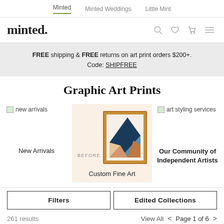Minted | Minted Weddings | Little Mint
minted.
FREE shipping & FREE returns on art print orders $200+. Code: SHIPFREE
Graphic Art Prints
[Figure (photo): New Arrivals category thumbnail - broken image placeholder]
New Arrivals
[Figure (photo): Custom Fine Art category thumbnail showing a framed abstract art print with BEFORE label, on cream background]
Custom Fine Art
[Figure (photo): Art styling services category thumbnail - broken image placeholder]
Our Community of Independent Artists
Filters
Edited Collections
261 results
View All  <  Page 1 of 6  >